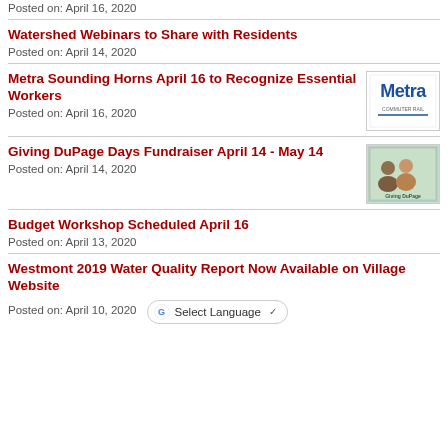Posted on: April 16, 2020
Watershed Webinars to Share with Residents
Posted on: April 14, 2020
Metra Sounding Horns April 16 to Recognize Essential Workers
Posted on: April 16, 2020
Giving DuPage Days Fundraiser April 14 - May 14
Posted on: April 14, 2020
Budget Workshop Scheduled April 16
Posted on: April 13, 2020
Westmont 2019 Water Quality Report Now Available on Village Website
Posted on: April 10, 2020